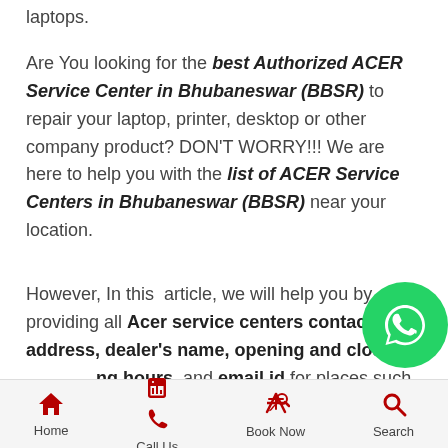laptops.

Are You looking for the best Authorized ACER Service Center in Bhubaneswar (BBSR) to repair your laptop, printer, desktop or other company product? DON'T WORRY!!! We are here to help you with the list of ACER Service Centers in Bhubaneswar (BBSR) near your location.

However, In this article, we will help you by providing all Acer service centers contact address, dealer's name, opening and closing hours, and email id for places such as Saheed
Home | Call Us | Book Now | Search